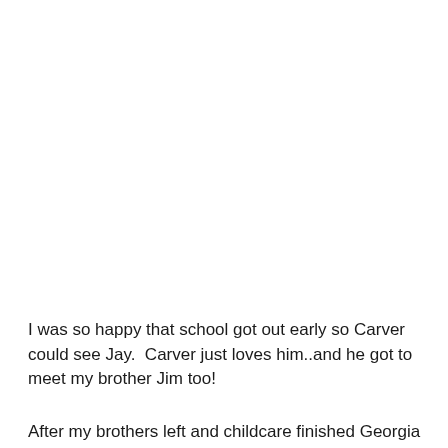I was so happy that school got out early so Carver could see Jay.  Carver just loves him..and he got to meet my brother Jim too!
After my brothers left and childcare finished Georgia and I